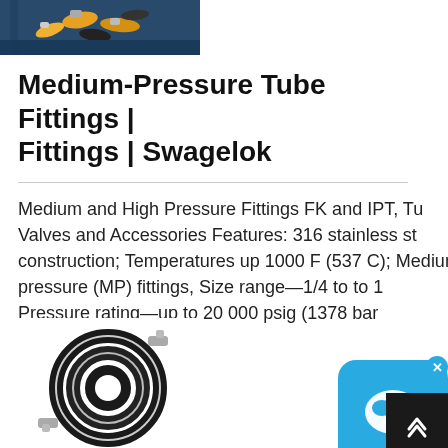[Figure (photo): Industrial machinery with yellow and black tubing/hoses and metal fittings]
Medium-Pressure Tube Fittings | Fittings | Swagelok
Medium and High Pressure Fittings FK and IPT, Tu Valves and Accessories Features: 316 stainless steel construction; Temperatures up 1000 F (537 C); Medium-pressure (MP) fittings, Size range—1/4 to to 1 Pressure rating—up to 20 000 psig (1378 bar
[Figure (photo): Coiled black high-pressure hose with metal fittings on ends]